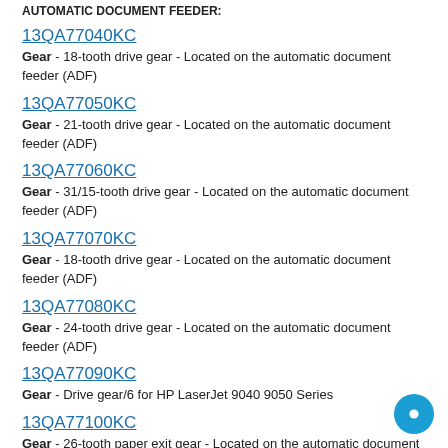AUTOMATIC DOCUMENT FEEDER:
13QA77040KC
Gear - 18-tooth drive gear - Located on the automatic document feeder (ADF)
13QA77050KC
Gear - 21-tooth drive gear - Located on the automatic document feeder (ADF)
13QA77060KC
Gear - 31/15-tooth drive gear - Located on the automatic document feeder (ADF)
13QA77070KC
Gear - 18-tooth drive gear - Located on the automatic document feeder (ADF)
13QA77080KC
Gear - 24-tooth drive gear - Located on the automatic document feeder (ADF)
13QA77090KC
Gear - Drive gear/6 for HP LaserJet 9040 9050 Series
13QA77100KC
Gear - 26-tooth paper exit gear - Located on the automatic document feeder (ADF)
13QA77120KC
Gear - 14-tooth drive gear - Located on the automatic